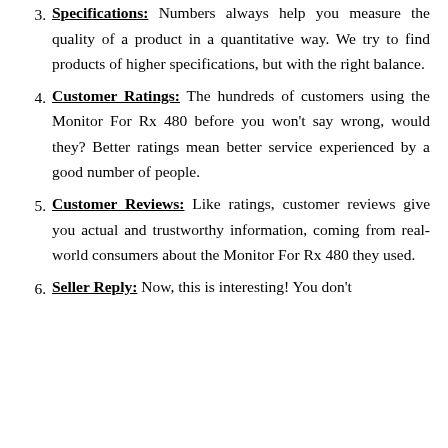3. Specifications: Numbers always help you measure the quality of a product in a quantitative way. We try to find products of higher specifications, but with the right balance.
4. Customer Ratings: The hundreds of customers using the Monitor For Rx 480 before you won't say wrong, would they? Better ratings mean better service experienced by a good number of people.
5. Customer Reviews: Like ratings, customer reviews give you actual and trustworthy information, coming from real-world consumers about the Monitor For Rx 480 they used.
6. Seller Reply: Now, this is interesting! You don't